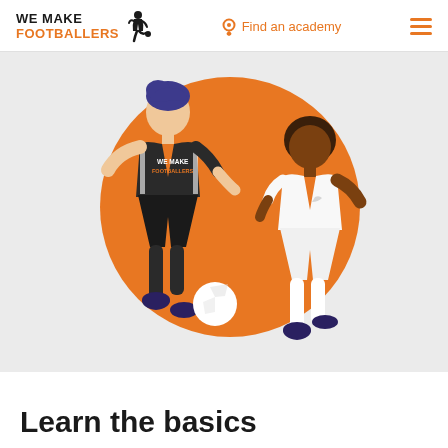WE MAKE FOOTBALLERS | Find an academy
[Figure (illustration): Two illustrated football players — one in a dark kit with 'WE MAKE FOOTBALLERS' text, one in a white kit — dribbling a white football in front of a large orange circle, on a light grey background.]
Learn the basics